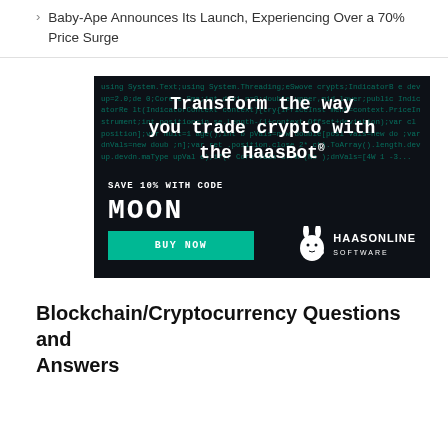Baby-Ape Announces Its Launch, Experiencing Over a 70% Price Surge
[Figure (infographic): HaasOnline Software advertisement with dark background showing code text pattern. White text reads 'Transform the way you trade crypto with the HaasBot®'. Below: 'SAVE 10% WITH CODE' and 'MOON' in large white letters. A teal 'BUY NOW' button and HaasOnline Software rabbit logo on the bottom right.]
Blockchain/Cryptocurrency Questions and Answers